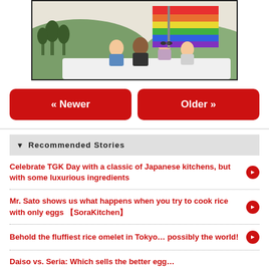[Figure (photo): Group of young people in a car with arms raised, holding a rainbow pride flag against a background of trees and hills]
« Newer
Older »
▼  Recommended Stories
Celebrate TGK Day with a classic of Japanese kitchens, but with some luxurious ingredients
Mr. Sato shows us what happens when you try to cook rice with only eggs 【SoraKitchen】
Behold the fluffiest rice omelet in Tokyo… possibly the world!
Daiso vs. Seria: Which sells the better egg…